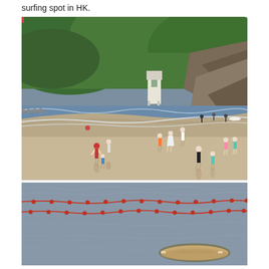surfing spot in HK.
[Figure (photo): Two stacked beach photos. Top photo: a sandy beach in Hong Kong with many people walking and wading along the shoreline, green forested hills and rocky cliffs in the background, a lifeguard tower visible, and surfers in the water. Bottom photo: calm grey water surface with two red rope/buoy lines stretched across horizontally, and a surfboard floating in the lower right.]